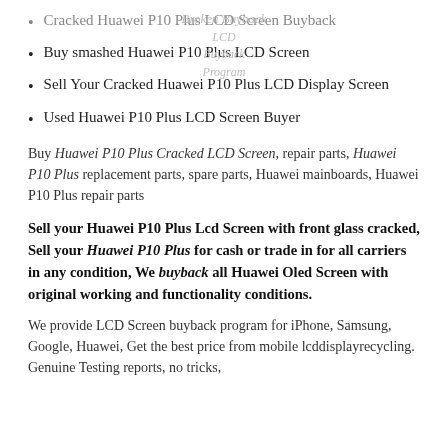[Figure (other): Watermark overlay text: 'Broken Buyback LCD Buyback 10 Plus Buyback Program']
Cracked Huawei P10 Plus LCD Screen Buyback
Buy smashed Huawei P10 Plus LCD Screen
Sell Your Cracked Huawei P10 Plus LCD Display Screen
Used Huawei P10 Plus LCD Screen Buyer
Buy Huawei P10 Plus Cracked LCD Screen, repair parts, Huawei P10 Plus replacement parts, spare parts, Huawei mainboards, Huawei P10 Plus repair parts
Sell your Huawei P10 Plus Lcd Screen with front glass cracked, Sell your Huawei P10 Plus for cash or trade in for all carriers in any condition, We buyback all Huawei Oled Screen with original working and functionality conditions.
We provide LCD Screen buyback program for iPhone, Samsung, Google, Huawei, Get the best price from mobile lcddisplayrecycling. Genuine Testing reports, no tricks,